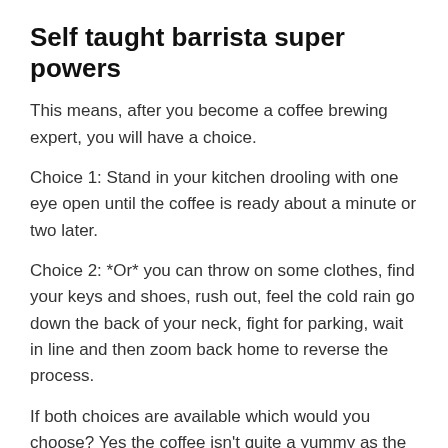Self taught barrista super powers
This means, after you become a coffee brewing expert, you will have a choice.
Choice 1: Stand in your kitchen drooling with one eye open until the coffee is ready about a minute or two later.
Choice 2: *Or* you can throw on some clothes, find your keys and shoes, rush out, feel the cold rain go down the back of your neck, fight for parking, wait in line and then zoom back home to reverse the process.
If both choices are available which would you choose? Yes the coffee isn't quite a yummy as the store made stuff but your overall quality of life is so much better.